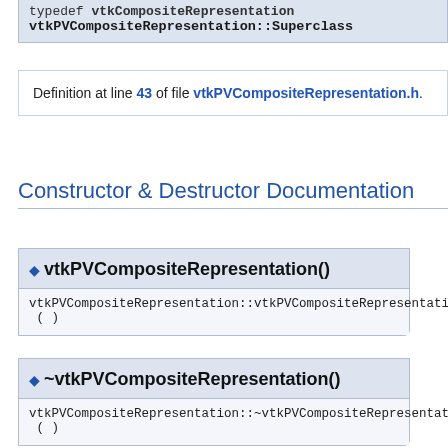typedef vtkCompositeRepresentation vtkPVCompositeRepresentation::Superclass
Definition at line 43 of file vtkPVCompositeRepresentation.h.
Constructor & Destructor Documentation
◆ vtkPVCompositeRepresentation()
vtkPVCompositeRepresentation::vtkPVCompositeRepresentation ( )
◆ ~vtkPVCompositeRepresentation()
vtkPVCompositeRepresentation::~vtkPVCompositeRepresentation ( )